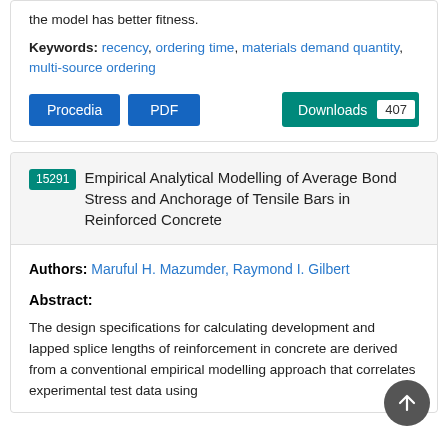the model has better fitness.
Keywords: recency, ordering time, materials demand quantity, multi-source ordering
15291 Empirical Analytical Modelling of Average Bond Stress and Anchorage of Tensile Bars in Reinforced Concrete
Authors: Maruful H. Mazumder, Raymond I. Gilbert
Abstract:
The design specifications for calculating development and lapped splice lengths of reinforcement in concrete are derived from a conventional empirical modelling approach that correlates experimental test data using